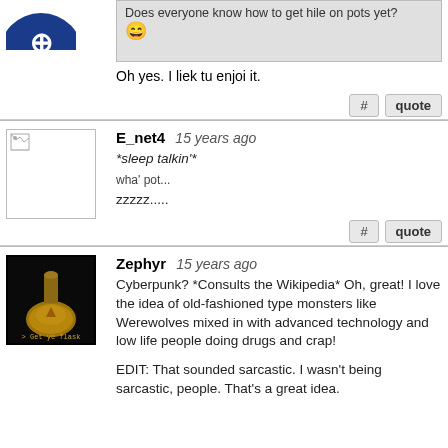Does everyone know how to get hile on pots yet? 😀
Oh yes. I liek tu enjoi it.
E_net4 15 years ago
*sleep talkin'*
wha' pot...
zzzzz.....
Zephyr 15 years ago
Cyberpunk? *Consults the Wikipedia* Oh, great! I love the idea of old-fashioned type monsters like Werewolves mixed in with advanced technology and low life people doing drugs and crap!

EDIT: That sounded sarcastic. I wasn't being sarcastic, people. That's a great idea.